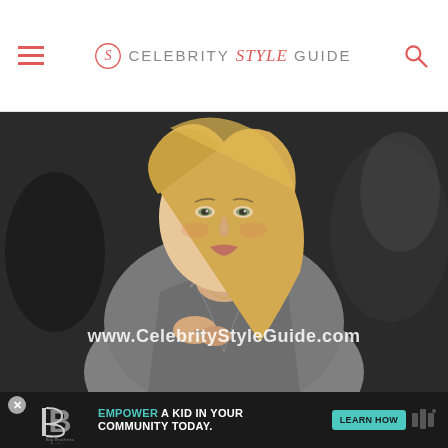Celebrity Style Guide
[Figure (photo): Photo of a blonde woman wearing a gray leather jacket at an event, with watermark text 'www.CelebrityStyleGuide.com' overlaid on the image]
[Figure (infographic): Advertisement banner: Big Brothers Big Sisters logo on dark background with text 'EMPOWER A KID IN YOUR COMMUNITY TODAY.' and 'Learn How' call-to-action button in teal]